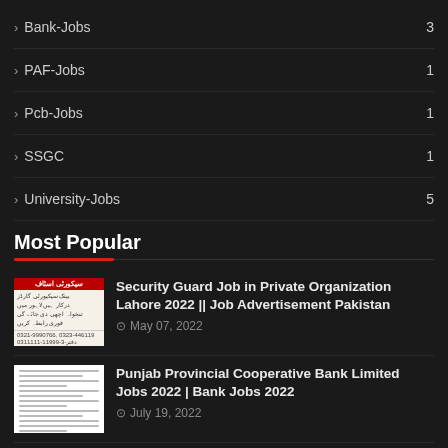> Bank-Jobs  3
> PAF-Jobs  1
> Pcb-Jobs  1
> SSGC  1
> University-Jobs  5
Most Popular
[Figure (photo): Security guard job advertisement flyer in Urdu]
Security Guard Job in Private Organization Lahore 2022 || Job Advertisement Pakistan
May 07, 2022
[Figure (photo): Punjab Provincial Cooperative Bank document/form]
Punjab Provincial Cooperative Bank Limited Jobs 2022 | Bank Jobs 2022
July 19, 2022
[Figure (photo): Information Technology University ITU campus photo with ITU logo]
Jobs in Information Technology University | ITU Jobs 2022
May 18, 2022